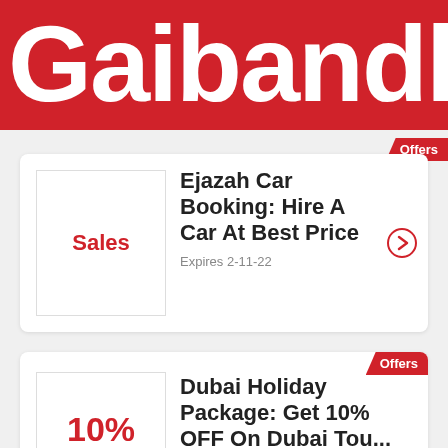Gaibandh
Offers
[Figure (other): Sales label placeholder image]
Ejazah Car Booking: Hire A Car At Best Price
Expires 2-11-22
Offers
[Figure (other): 10% OFF label placeholder image]
Dubai Holiday Package: Get 10% OFF On Dubai Tou...
Expires 2-12-22